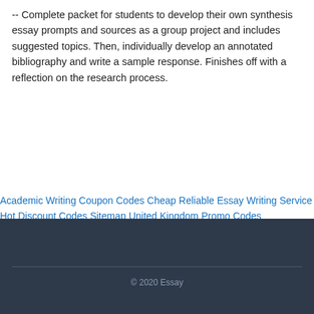-- Complete packet for students to develop their own synthesis essay prompts and sources as a group project and includes suggested topics. Then, individually develop an annotated bibliography and write a sample response. Finishes off with a reflection on the research process.
Academic Writing Coupon Codes Cheap Reliable Essay Writing Service Hot Discount Codes Sitemap United Kingdom Promo Codes
© 2020 Essay